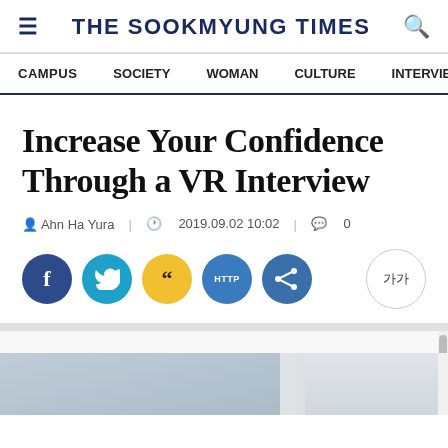THE SOOKMYUNG TIMES
CAMPUS | SOCIETY | WOMAN | CULTURE | INTERVIEW
Increase Your Confidence Through a VR Interview
Ahn Ha Yura | 2019.09.02 10:02 | 0
[Figure (screenshot): Social sharing buttons: Facebook (dark blue), Twitter (light blue), KakaoTalk (yellow), HTTP link (blue), Share (blue), and font size toggle button (가가)]
[Figure (photo): Partial photo visible at bottom of page, appears to be an interior room scene in light gray tones]